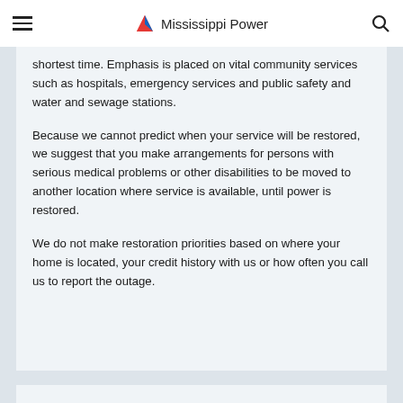Mississippi Power
shortest time. Emphasis is placed on vital community services such as hospitals, emergency services and public safety and water and sewage stations.
Because we cannot predict when your service will be restored, we suggest that you make arrangements for persons with serious medical problems or other disabilities to be moved to another location where service is available, until power is restored.
We do not make restoration priorities based on where your home is located, your credit history with us or how often you call us to report the outage.
How the Restoration Process works